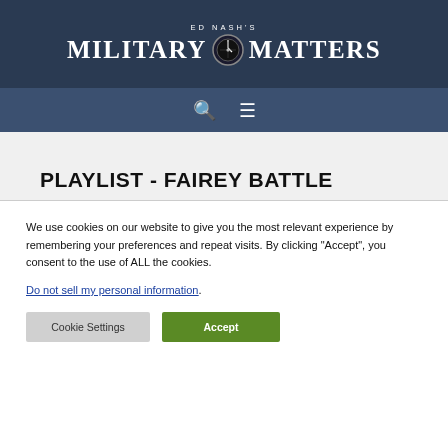ED NASH'S MILITARY MATTERS
PLAYLIST - FAIREY BATTLE
We use cookies on our website to give you the most relevant experience by remembering your preferences and repeat visits. By clicking "Accept", you consent to the use of ALL the cookies. Do not sell my personal information.
Cookie Settings | Accept